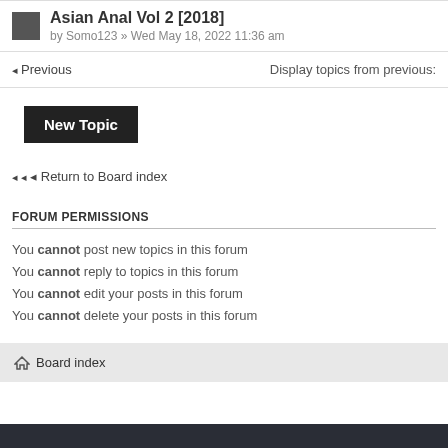Asian Anal Vol 2 [2018] by Somo123 » Wed May 18, 2022 11:36 am
Previous   Display topics from previous:
New Topic
Return to Board index
FORUM PERMISSIONS
You cannot post new topics in this forum
You cannot reply to topics in this forum
You cannot edit your posts in this forum
You cannot delete your posts in this forum
Board index